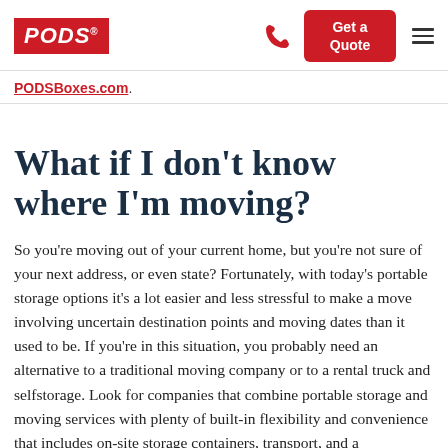PODS | PODSBoxes.com. | Get a Quote
What if I don't know where I'm moving?
So you're moving out of your current home, but you're not sure of your next address, or even state? Fortunately, with today's portable storage options it's a lot easier and less stressful to make a move involving uncertain destination points and moving dates than it used to be. If you're in this situation, you probably need an alternative to a traditional moving company or to a rental truck and selfstorage. Look for companies that combine portable storage and moving services with plenty of built-in flexibility and convenience that includes on-site storage containers, transport, and a